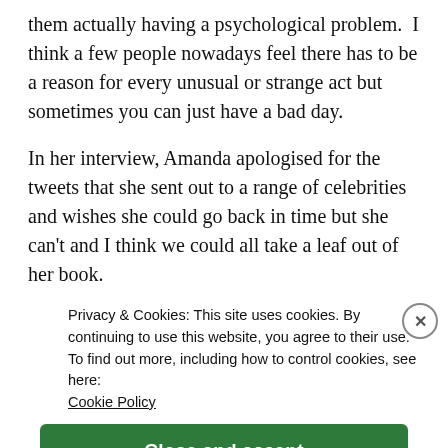them actually having a psychological problem.  I think a few people nowadays feel there has to be a reason for every unusual or strange act but sometimes you can just have a bad day.
In her interview, Amanda apologised for the tweets that she sent out to a range of celebrities and wishes she could go back in time but she can't and I think we could all take a leaf out of her book.
Sometimes we do act out of character. Sometimes we do things we regret, whether that's petty fights or great big fights with people we love and sometimes you can severely misjudge a situation, or act
Privacy & Cookies: This site uses cookies. By continuing to use this website, you agree to their use.
To find out more, including how to control cookies, see here:
Cookie Policy
Close and accept
Post on the go.